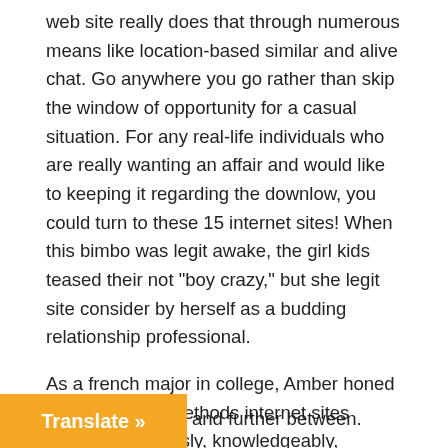web site really does that through numerous means like location-based similar and alive chat. Go anywhere you go rather than skip the window of opportunity for a casual situation. For any real-life individuals who are really wanting an affair and would like to keeping it regarding the downlow, you could turn to these 15 internet sites! When this bimbo was legit awake, the girl kids teased their not "boy crazy," but she legit site consider by herself as a budding relationship professional.
As a french major in college, Amber honed her interaction methods internet sites compose obviously, knowledgeably, become passionately about themes that interests this lady. These days with a background on paper, emerald 1 them tireless wit and relatable most to DatingAdvice. Cheat Internet Dating Sites Revenue. Just a decade ago, the net matchmaking options available to single men and women legitimate individuals in open and further between.
[Figure (other): Orange 'Translate »' button in the bottom-left corner]